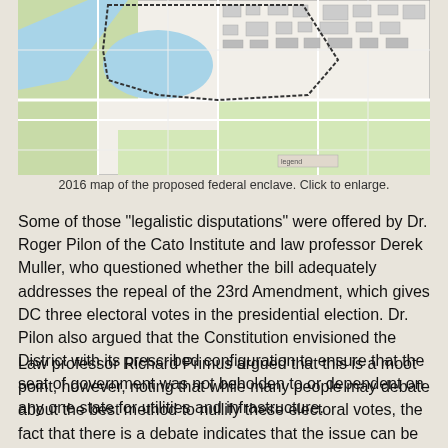[Figure (map): 2016 map of the proposed federal enclave showing street layout, water features (river and pond), green spaces, and building outlines in the Washington DC area.]
2016 map of the proposed federal enclave. Click to enlarge.
Some of those "legalistic disputations" were offered by Dr. Roger Pilon of the Cato Institute and law professor Derek Muller, who questioned whether the bill adequately addresses the repeal of the 23rd Amendment, which gives DC three electoral votes in the presidential election. Dr. Pilon also argued that the Constitution envisioned the District with its prescribed configuration to ensure that the seat of government was not beholden to or dependent on any one state for utilities and infrastructure.
Law professor Richard Primus argued that this is a moot point, however, noting that while many people may debate about the best method to nullify these electoral votes, the fact that there is a debate indicates that the issue can be resolved and that the political will exists to resolve it. Primus also argued that there is no Constitutional